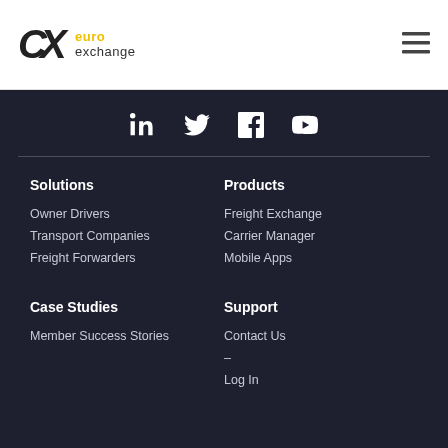[Figure (logo): CX euro exchange logo with CX monogram and yellow 'euro' / grey 'exchange' wordmark]
[Figure (other): Hamburger menu icon (three horizontal lines)]
[Figure (other): Social media icons row: LinkedIn, Twitter, Facebook, YouTube on dark background]
Solutions
Owner Drivers
Transport Companies
Freight Forwarders
Products
Freight Exchange
Carrier Manager
Mobile Apps
Case Studies
Member Success Stories
Support
Contact Us
–
Log In